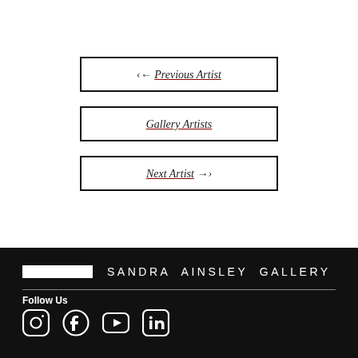← Previous Artist
Gallery Artists
Next Artist →
[Figure (logo): Sandra Ainsley Gallery logo with white rectangle and spaced text on black background]
Follow Us
[Figure (other): Social media icons: Instagram, Facebook, YouTube, LinkedIn on black background]